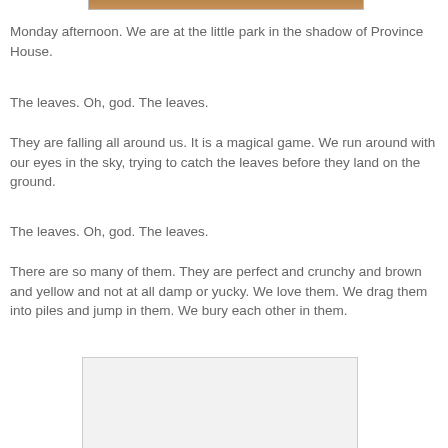[Figure (photo): Partial photo visible at top of page, cropped]
Monday afternoon. We are at the little park in the shadow of Province House.
The leaves. Oh, god. The leaves.
They are falling all around us. It is a magical game. We run around with our eyes in the sky, trying to catch the leaves before they land on the ground.
The leaves. Oh, god. The leaves.
There are so many of them. They are perfect and crunchy and brown and yellow and not at all damp or yucky. We love them. We drag them into piles and jump in them. We bury each other in them.
[Figure (photo): Partial photo visible at bottom of page, cropped]